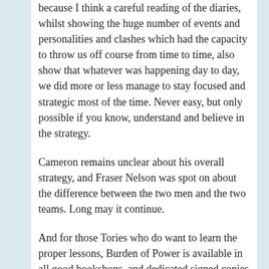because I think a careful reading of the diaries, whilst showing the huge number of events and personalities and clashes which had the capacity to throw us off course from time to time, also show that whatever was happening day to day, we did more or less manage to stay focused and strategic most of the time. Never easy, but only possible if you know, understand and believe in the strategy.
Cameron remains unclear about his overall strategy, and Fraser Nelson was spot on about the difference between the two men and the two teams. Long may it continue.
And for those Tories who do want to learn the proper lessons, Burden of Power is available in all good bookshops, and dedicated signed copies can be ordered via manager@hampstead.waterstones.com